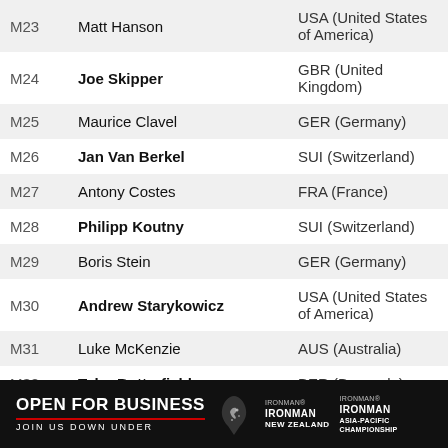| Rank | Name | Country |
| --- | --- | --- |
| M23 | Matt Hanson | USA (United States of America) |
| M24 | Joe Skipper | GBR (United Kingdom) |
| M25 | Maurice Clavel | GER (Germany) |
| M26 | Jan Van Berkel | SUI (Switzerland) |
| M27 | Antony Costes | FRA (France) |
| M28 | Philipp Koutny | SUI (Switzerland) |
| M29 | Boris Stein | GER (Germany) |
| M30 | Andrew Starykowicz | USA (United States of America) |
| M31 | Luke McKenzie | AUS (Australia) |
| M32 | Tyler Butterfield | BER (Bermuda) |
| M33 | Will Clarke | GBR (United Kingdom) |
| M34 | Ben Hoffman | USA (United States of America) |
| M35 | Kevin Collington | USA (United States of America) |
| M36 | Marc Duelsen | GER (Germany) |
| M37 |  |  |
| M38 |  |  |
[Figure (infographic): Advertisement banner: OPEN FOR BUSINESS JOIN US DOWN UNDER with IRONMAN New Zealand and IRONMAN Asia-Pacific logos]